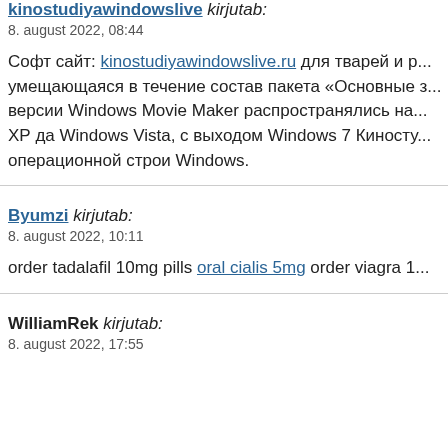kinostudiyawindowslive kirjutab:
8. august 2022, 08:44
Софт сайт: kinostudiyawindowslive.ru для тварей и р... умещающаяся в течение состав пакета «Основные з... версии Windows Movie Maker распространялись на... ХР да Windows Vista, с выходом Windows 7 Киносту... операционной строи Windows.
Byumzi kirjutab:
8. august 2022, 10:11
order tadalafil 10mg pills oral cialis 5mg order viagra 1...
WilliamRek kirjutab:
8. august 2022, 17:55